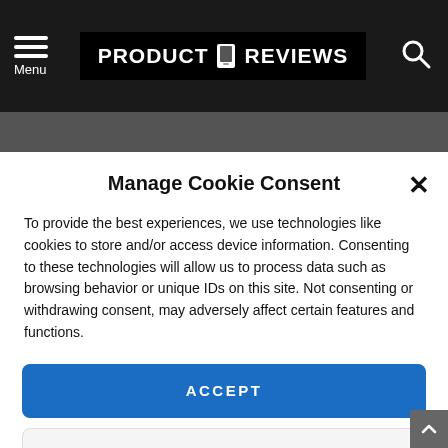Menu | PRODUCT REVIEWS
Manage Cookie Consent
To provide the best experiences, we use technologies like cookies to store and/or access device information. Consenting to these technologies will allow us to process data such as browsing behavior or unique IDs on this site. Not consenting or withdrawing consent, may adversely affect certain features and functions.
ACCEPT
VIEW PREFERENCES
Cookie Policy  Privacy Policy
interest in all areas that PR cover, you'll usually find Alan in the gaming section, where he'll be keeping enthusiasts up to date on all the latest news and reviews for consoles